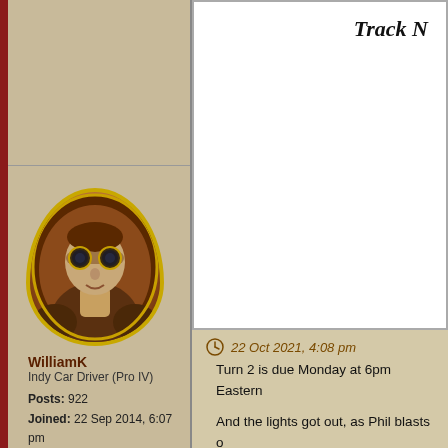Track N
[Figure (illustration): Forum post layout with steampunk avatar portrait of a character with goggles, brown leather outfit, on a tan/parchment background. The upper right shows a white box area with 'Track N' title (partially visible).]
22 Oct 2021, 4:08 pm
Turn 2 is due Monday at 6pm Eastern
And the lights got out, as Phil blasts o
Behind them the front chase pack for Ross tailing them.
Further back the rear chase pack also the line behind them content to be ba
RM Notes:
So a couple things real quick I figured
WilliamK
Indy Car Driver (Pro IV)

Posts: 922
Joined: 22 Sep 2014, 6:07 pm